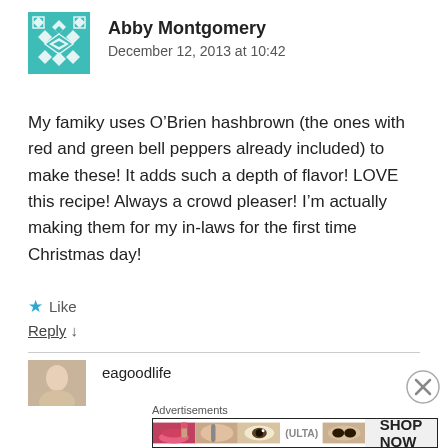[Figure (illustration): Teal geometric patterned avatar icon for user Abby Montgomery]
Abby Montgomery
December 12, 2013 at 10:42
My famiky uses O’Brien hashbrown (the ones with red and green bell peppers already included) to make these! It adds such a depth of flavor! LOVE this recipe! Always a crowd pleaser! I’m actually making them for my in-laws for the first time Christmas day!
★ Like
Reply ↓
[Figure (photo): Small photo thumbnail of eagoodlife user avatar]
eagoodlife
Advertisements
[Figure (infographic): Ulta Beauty advertisement banner with makeup images and SHOP NOW text]